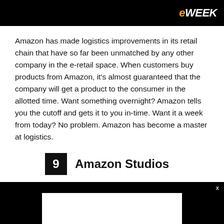eWEEK
Amazon has made logistics improvements in its retail chain that have so far been unmatched by any other company in the e-retail space. When customers buy products from Amazon, it's almost guaranteed that the company will get a product to the consumer in the allotted time. Want something overnight? Amazon tells you the cutoff and gets it to you in-time. Want it a week from today? No problem. Amazon has become a master at logistics.
9  Amazon Studios
[Figure (screenshot): Black background image block with a white inner rectangle and an x close button]